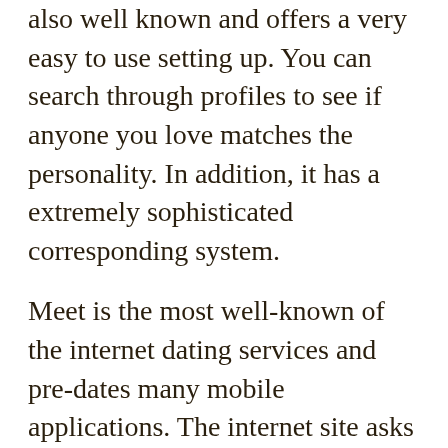also well known and offers a very easy to use setting up. You can search through profiles to see if anyone you love matches the personality. In addition, it has a extremely sophisticated corresponding system.
Meet is the most well-known of the internet dating services and pre-dates many mobile applications. The internet site asks you to provide a account so that additional members agrees with with you. Also you can take a character quiz on Match to locate a potential meet. It also gives super likes and enhances to their premium users. Whilst Match is normally not no cost, it is